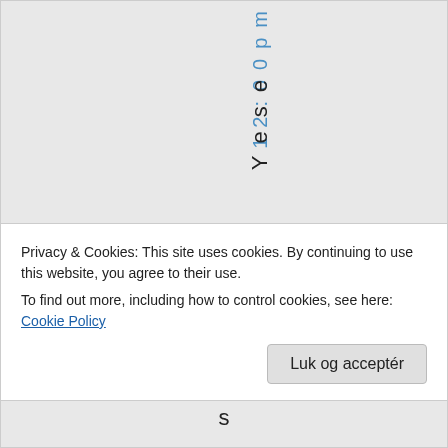12:00pm
Yese
Privacy & Cookies: This site uses cookies. By continuing to use this website, you agree to their use.
To find out more, including how to control cookies, see here: Cookie Policy
Luk og acceptér
s